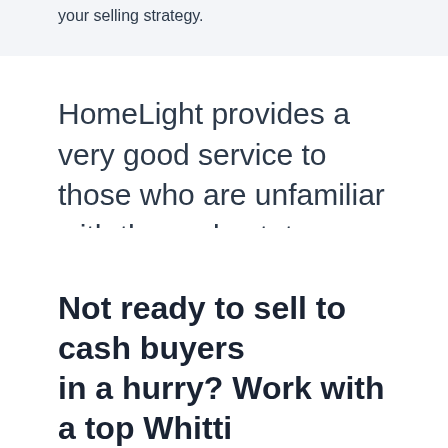your selling strategy.
HomeLight provides a very good service to those who are unfamiliar with the real estate world.
Earl S.
Not ready to sell to cash buyers in a hurry? Work with a top Whitti...